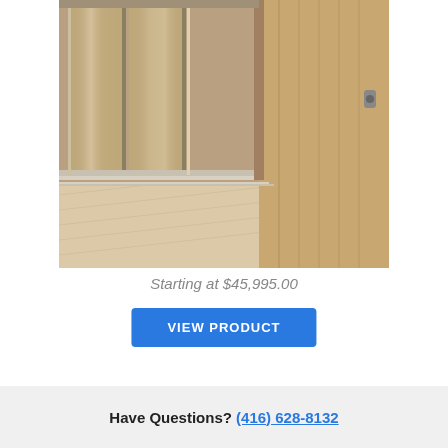[Figure (photo): Interior of an elevator cab showing stainless steel sliding doors and warm wood-toned flooring and wall panels]
Starting at $45,995.00
VIEW PRODUCT
Have Questions? (416) 628-8132